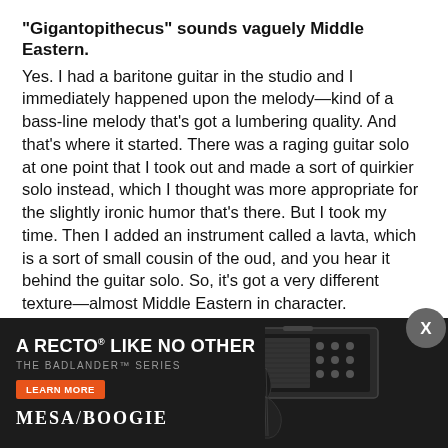“Gigantopithecus” sounds vaguely Middle Eastern.
Yes. I had a baritone guitar in the studio and I immediately happened upon the melody—kind of a bass-line melody that’s got a lumbering quality. And that’s where it started. There was a raging guitar solo at one point that I took out and made a sort of quirkier solo instead, which I thought was more appropriate for the slightly ironic humor that’s there. But I took my time. Then I added an instrument called a lavta, which is a sort of small cousin of the oud, and you hear it behind the guitar solo. So, it’s got a very different texture—almost Middle Eastern in character.
Talk about how you layered the sounds on “Adinkra,” which, as the name suggests, has kind of a West African influence.
That’s [text obscured by ad] in an extremely [text obscured by ad] ment —I think [text obscured by ad] nded like a studio [text obscured by ad] bit...
[Figure (other): Advertisement for Mesa/Boogie Badlander Series guitar amplifier. Black background with text 'A RECTO LIKE NO OTHER', 'THE BADLANDER SERIES', orange 'LEARN MORE' button, Mesa/Boogie logo, and an image of a guitar amplifier head with a guitar.]